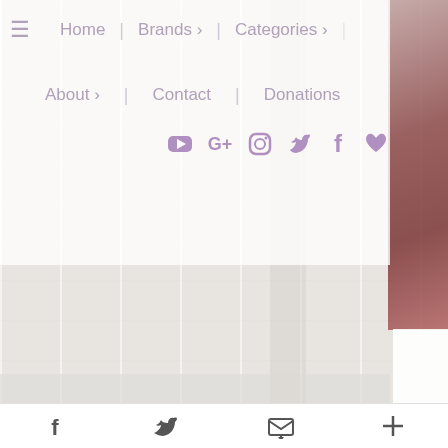[Figure (screenshot): Website navigation screenshot showing a dropdown menu overlay with nav items: Home, Brands, Categories, About, Contact, Donations, and social media icons (YouTube, Google+, Instagram, Twitter, Facebook, heart). Bottom share bar with Facebook, Twitter, email, and plus icons. Right side shows a blurred photo with red tones. Background is a light wood texture.]